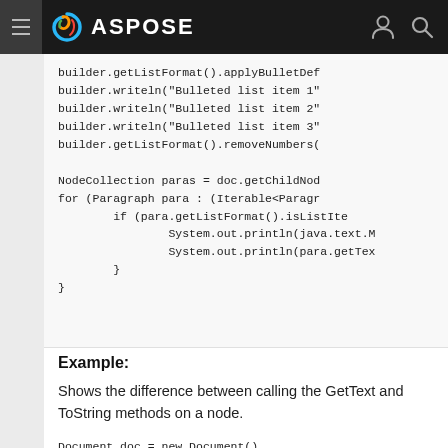ASPOSE
[Figure (screenshot): Code block showing Java code with builder.getListFormat().applyBulletDef..., builder.writeln calls, NodeCollection, for loop with Paragraph iteration]
Example:
Shows the difference between calling the GetText and ToString methods on a node.
Document doc = new Document()